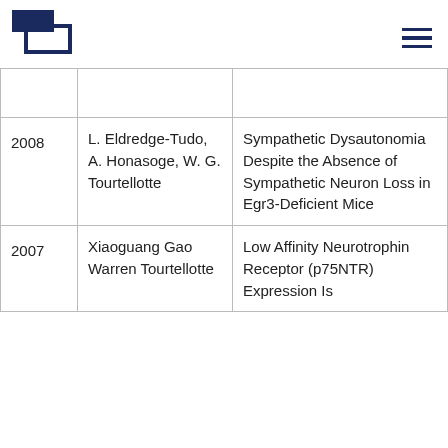[Figure (logo): Two overlapping rectangles logo in dark navy blue, top-left corner]
| Year | Author(s) | Title |
| --- | --- | --- |
|  |  |  |
| 2008 | L. Eldredge-Tudo, A. Honasoge, W. G. Tourtellotte | Sympathetic Dysautonomia Despite the Absence of Sympathetic Neuron Loss in Egr3-Deficient Mice |
| 2007 | Xiaoguang Gao Warren Tourtellotte | Low Affinity Neurotrophin Receptor (p75NTR) Expression Is... |